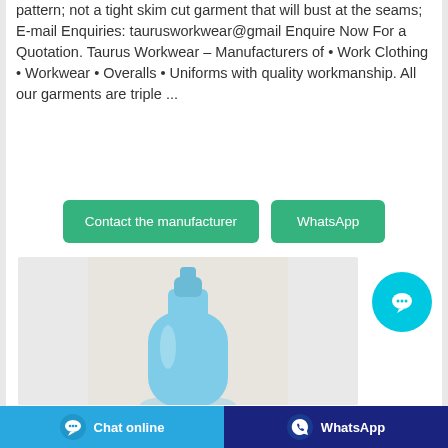pattern; not a tight skim cut garment that will bust at the seams; E-mail Enquiries: taurusworkwear@gmail Enquire Now For a Quotation. Taurus Workwear – Manufacturers of • Work Clothing • Workwear • Overalls • Uniforms with quality workmanship. All our garments are triple ...
Contact the manufacturer
WhatsApp
[Figure (photo): A light blue plastic bottle with a pump/cap top, photographed against a light beige background, partially cropped at the bottom.]
Chat online
WhatsApp